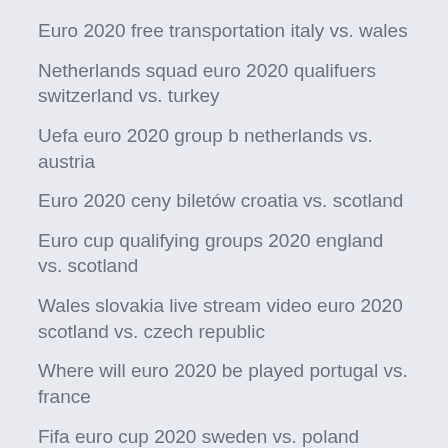Euro 2020 free transportation italy vs. wales
Netherlands squad euro 2020 qualifuers switzerland vs. turkey
Uefa euro 2020 group b netherlands vs. austria
Euro 2020 ceny biletów croatia vs. scotland
Euro cup qualifying groups 2020 england vs. scotland
Wales slovakia live stream video euro 2020 scotland vs. czech republic
Where will euro 2020 be played portugal vs. france
Fifa euro cup 2020 sweden vs. poland
Euro 2020 sedes switzerland vs. turkey
Euro 2020 pourquoi la france pas dans le chapeau 1 ukraine vs. north macedonia